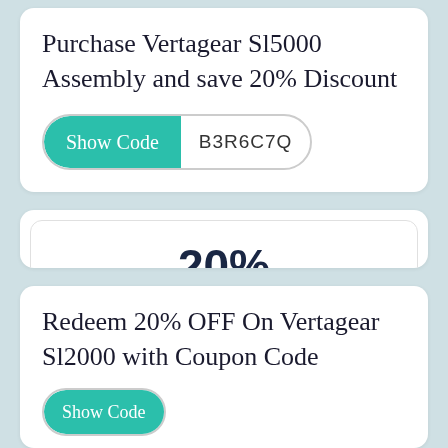Purchase Vertagear Sl5000 Assembly and save 20% Discount
Show Code  B3R6C7Q
20%
OFF
COUPON CODE
Redeem 20% OFF On Vertagear Sl2000 with Coupon Code